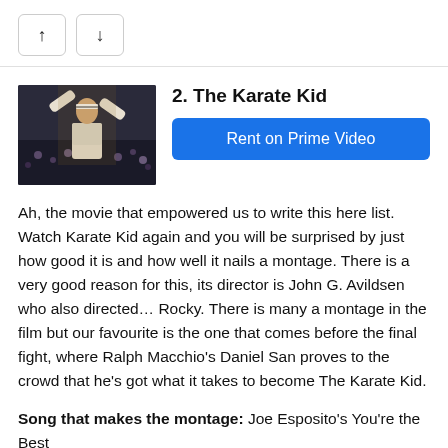[Figure (screenshot): Navigation up and down arrow buttons]
[Figure (photo): Movie thumbnail for The Karate Kid showing a young man in a white karate gi with headband raising his arms in a crowd]
2. The Karate Kid
Rent on Prime Video
Ah, the movie that empowered us to write this here list. Watch Karate Kid again and you will be surprised by just how good it is and how well it nails a montage. There is a very good reason for this, its director is John G. Avildsen who also directed… Rocky. There is many a montage in the film but our favourite is the one that comes before the final fight, where Ralph Macchio's Daniel San proves to the crowd that he's got what it takes to become The Karate Kid.
Song that makes the montage: Joe Esposito's You're the Best